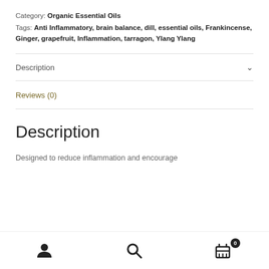Category: Organic Essential Oils
Tags: Anti Inflammatory, brain balance, dill, essential oils, Frankincense, Ginger, grapefruit, Inflammation, tarragon, Ylang Ylang
Description
Reviews (0)
Description
Designed to reduce inflammation and encourage